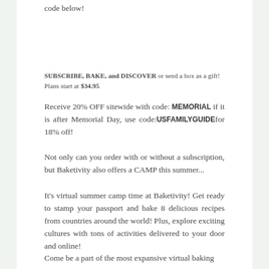code below!
SUBSCRIBE, BAKE, and DISCOVER or send a box as a gift! Plans start at $34.95
Receive 20% OFF sitewide with code: MEMORIAL if it is after Memorial Day, use code: USFAMILYGUIDE for 18% off!
Not only can you order with or without a subscription, but Baketivity also offers a CAMP this summer...
It's virtual summer camp time at Baketivity! Get ready to stamp your passport and bake 8 delicious recipes from countries around the world! Plus, explore exciting cultures with tons of activities delivered to your door and online!
Come be a part of the most expansive virtual baking